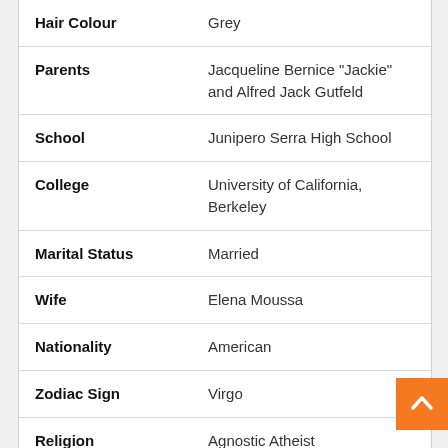| Field | Value |
| --- | --- |
| Hair Colour | Grey |
| Parents | Jacqueline Bernice "Jackie" and Alfred Jack Gutfeld |
| School | Junipero Serra High School |
| College | University of California, Berkeley |
| Marital Status | Married |
| Wife | Elena Moussa |
| Nationality | American |
| Zodiac Sign | Virgo |
| Religion | Agnostic Atheist |
| Ethnicity | Jewish-Germanic |
| Profession | American television host, policy |